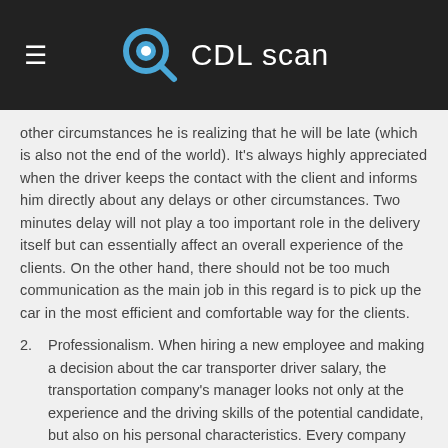CDL scan
other circumstances he is realizing that he will be late (which is also not the end of the world). It's always highly appreciated when the driver keeps the contact with the client and informs him directly about any delays or other circumstances. Two minutes delay will not play a too important role in the delivery itself but can essentially affect an overall experience of the clients. On the other hand, there should not be too much communication as the main job in this regard is to pick up the car in the most efficient and comfortable way for the clients.
2. Professionalism. When hiring a new employee and making a decision about the car transporter driver salary, the transportation company's manager looks not only at the experience and the driving skills of the potential candidate, but also on his personal characteristics. Every company